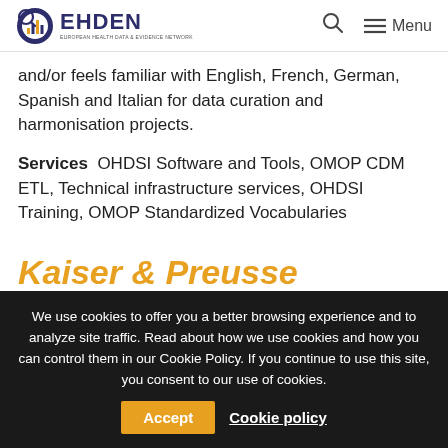EHDEN — Menu
and/or feels familiar with English, French, German, Spanish and Italian for data curation and harmonisation projects.
Services  OHDSI Software and Tools, OMOP CDM ETL, Technical infrastructure services, OHDSI Training, OMOP Standardized Vocabularies
Kaiser & Preusse
We use cookies to offer you a better browsing experience and to analyze site traffic. Read about how we use cookies and how you can control them in our Cookie Policy. If you continue to use this site, you consent to our use of cookies.